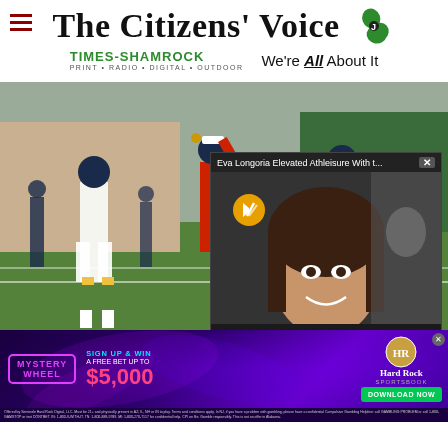The Citizens' Voice
TIMES-SHAMROCK PRINT • RADIO • DIGITAL • OUTDOOR — We're All About It
[Figure (photo): Football practice scene with players in navy and white uniforms on a field; quarterback in red jersey throwing a pass]
Eva Longoria Elevated Athleisure With t... [popup ad overlay with video mute button and close X]
[Figure (photo): Popup video ad showing a woman (Eva Longoria) smiling at camera, blurred background, with mute icon overlay]
[Figure (infographic): Hard Rock Sportsbook advertisement banner: Mystery Wheel — Sign Up & Win A Free Bet Up To $5,000 — Download Now button]
Offered by Seminole Hard Rock Digital, LLC. Must be 21+ and physically present in AZ, IL, NH or IN to play. Terms and conditions apply. In NJ, if you have a problem with gambling, please have a confidential Compulsive Gambling Helpline: call GAMBLING PROBLEM or call 1-800-GAMSTOP or text DONTBET. IN: 1-800-9-WITH-IT. TN: 1-800-889-9789. MI: 1-800-270-7117 for confidential help. CPI on file. Gamble responsibly. This is not an offer in Alabama.